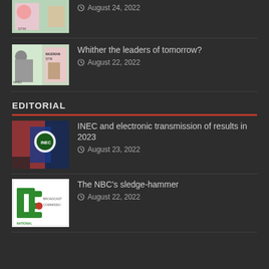August 24, 2022
Whither the leaders of tomorrow?
August 22, 2022
EDITORIAL
INEC and electronic transmission of results in 2023
August 23, 2022
The NBC's sledge-hammer
August 22, 2022